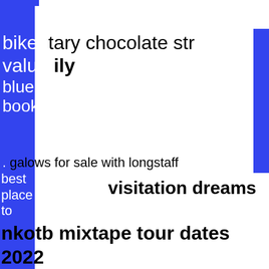bike  tary chocolate str
value ily
blue
book
bungalows for sale with longstaff
best place to
visitation dreams
nkotb mixtape tour dates 2022
pro  apping in virginia today
vs
p365xl